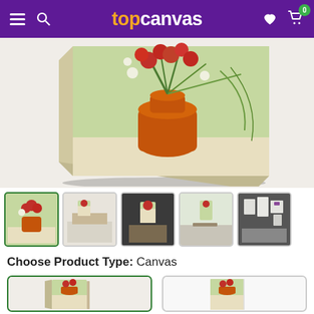topcanvas
[Figure (photo): Van Gogh painting of a vase with poppies and daisies displayed as a canvas print, shown in perspective with shadow]
[Figure (photo): Five thumbnail images: 1) Close-up of the painting (active/selected with green border), 2) Canvas print above fireplace in living room, 3) Canvas print on dark wall with chair, 4) Canvas print on wall above desk with laptop, 5) Multiple frames on wall]
Choose Product Type: Canvas
[Figure (photo): Product type option: Canvas (selected with green border) showing painting on stretcher frame]
[Figure (photo): Product type option: unselected, showing painting on poster/flat mount]